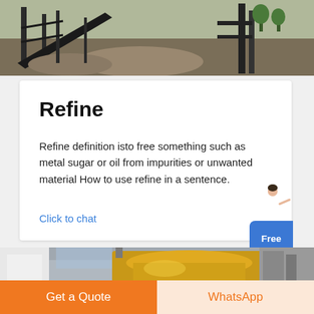[Figure (photo): Industrial conveyor belt and mining/quarry equipment at an outdoor site with gravel/ore piles and metal structures]
Refine
Refine definition isto free something such as metal sugar or oil from impurities or unwanted material How to use refine in a sentence.
Click to chat
[Figure (photo): Large yellow cone crusher industrial machine inside a factory/workshop]
Get a Quote
WhatsApp